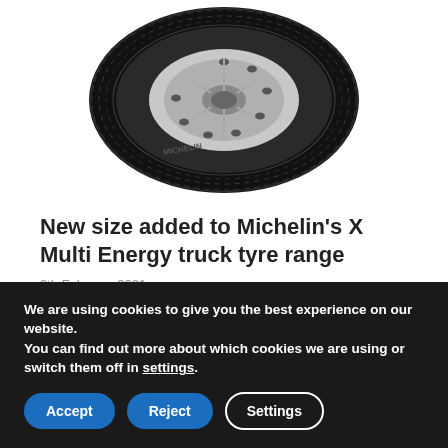[Figure (photo): A Michelin X Multi Energy truck tyre (black, large, showing tread and chrome rim), viewed at a slight angle from the front.]
New size added to Michelin’s X Multi Energy truck tyre range
9th February 2021
Michelin has expanded its fuel-saving regional tyre
We are using cookies to give you the best experience on our website.
You can find out more about which cookies we are using or switch them off in settings.